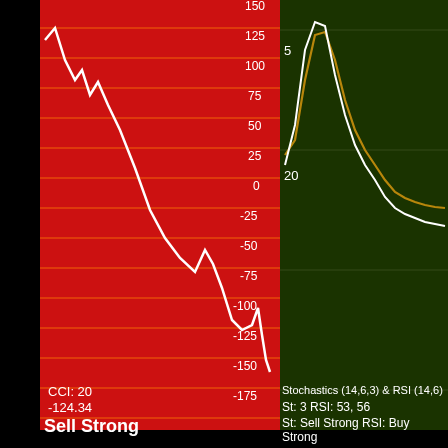[Figure (continuous-plot): CCI indicator chart on red background with white line descending from ~150 to ~-110. Y-axis labels: 150, 125, 100, 75, 50, 25, 0, -25, -50, -75, -100, -125, -150, -175. Orange horizontal gridlines on red background.]
[Figure (continuous-plot): Stochastics chart top-right: dark green background with white and gold/olive lines peaking high then descending. Y-axis labels: 5, 20.]
[Figure (continuous-plot): RSI chart bottom-right: red background with white and gold lines hovering around 40-55 range. Y-axis labels: 80, 50, 20.]
CCI: 20
-124.34
Sell  Strong
Stochastics (14,6,3) & RSI (14,6)
St: 3 RSI: 53, 56
St: Sell Strong  RSI: Buy Strong